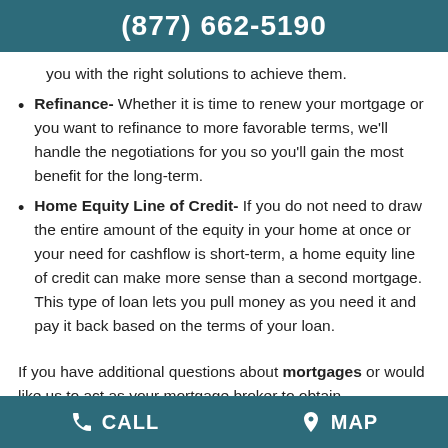(877) 662-5190
you with the right solutions to achieve them.
Refinance- Whether it is time to renew your mortgage or you want to refinance to more favorable terms, we'll handle the negotiations for you so you'll gain the most benefit for the long-term.
Home Equity Line of Credit- If you do not need to draw the entire amount of the equity in your home at once or your need for cashflow is short-term, a home equity line of credit can make more sense than a second mortgage. This type of loan lets you pull money as you need it and pay it back based on the terms of your loan.
If you have additional questions about mortgages or would like us to act as your mortgage broker to obtain
CALL   MAP